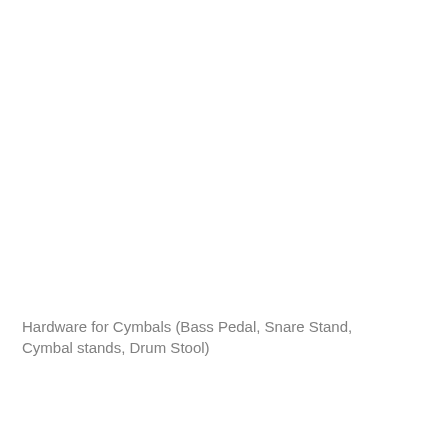Hardware for Cymbals (Bass Pedal, Snare Stand, Cymbal stands, Drum Stool)